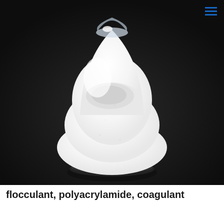[Figure (photo): A photograph of a white powder substance shaped into a cone/mound form on a glass pedestal dish, set against a dark/black background. The white powder appears to be polyacrylamide flocculant or coagulant chemical compound.]
flocculant, polyacrylamide, coagulant